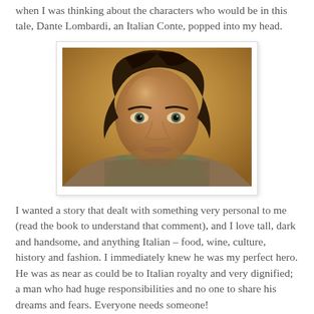when I was thinking about the characters who would be in this tale, Dante Lombardi, an Italian Conte, popped into my head.
[Figure (photo): Close-up photo of a dark-haired man with intense eyes, resting his chin on his arms, wearing an olive green shirt, warm golden-tan background.]
I wanted a story that dealt with something very personal to me (read the book to understand that comment), and I love tall, dark and handsome, and anything Italian – food, wine, culture, history and fashion. I immediately knew he was my perfect hero. He was as near as could be to Italian royalty and very dignified; a man who had huge responsibilities and no one to share his dreams and fears. Everyone needs someone!